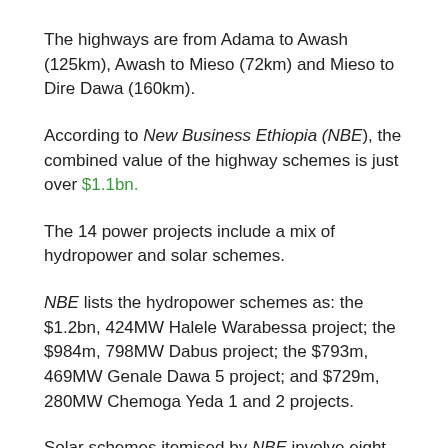The highways are from Adama to Awash (125km), Awash to Mieso (72km) and Mieso to Dire Dawa (160km).
According to New Business Ethiopia (NBE), the combined value of the highway schemes is just over $1.1bn.
The 14 power projects include a mix of hydropower and solar schemes.
NBE lists the hydropower schemes as: the $1.2bn, 424MW Halele Warabessa project; the $984m, 798MW Dabus project; the $793m, 469MW Genale Dawa 5 project; and $729m, 280MW Chemoga Yeda 1 and 2 projects.
Solar schemes itemised by NBE involve eight projects, each with generating capacity ranging from 100MW to 150MW, in